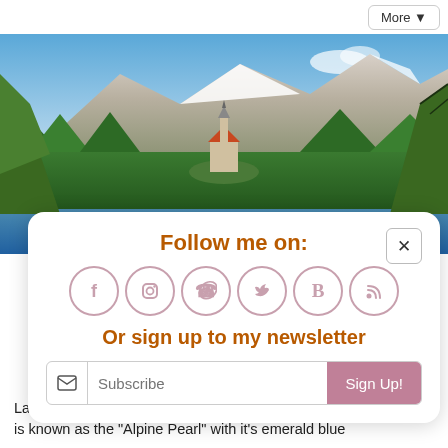More ▼
[Figure (photo): Panoramic photo of Lake Bled, Slovenia, showing a church on an island, surrounded by green trees, with snow-capped mountains and blue sky in the background.]
Follow me on:
Or sign up to my newsletter
Subscribe  Sign Up!
Lake Bled arguably the most popular destination in Slovenia and is known as the "Alpine Pearl" with it's emerald blue